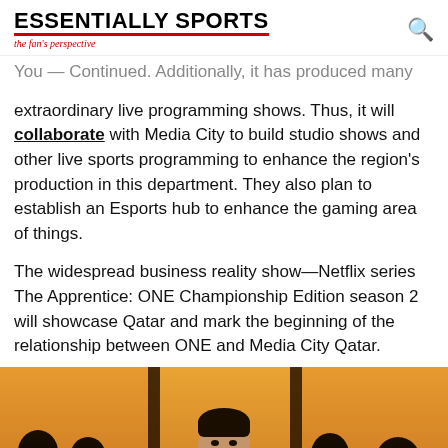ESSENTIALLY SPORTS — the fan's perspective
You — Continued. Additionally, it has produced many extraordinary live programming shows. Thus, it will collaborate with Media City to build studio shows and other live sports programming to enhance the region's production in this department. They also plan to establish an Esports hub to enhance the gaming area of things.

The widespread business reality show—Netflix series The Apprentice: ONE Championship Edition season 2 will showcase Qatar and mark the beginning of the relationship between ONE and Media City Qatar.
[Figure (photo): Silhouetted figures standing in front of a large window with warm golden light, a man in a suit facing the camera in the center, surrounded by several people shown in silhouette.]